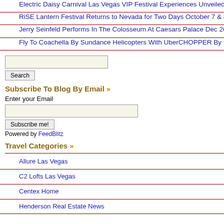Electric Daisy Carnival Las Vegas VIP Festival Experiences Unveiled
RiSE Lantern Festival Returns to Nevada for Two Days October 7 & 8
Jerry Seinfeld Performs In The Colosseum At Caesars Palace Dec 26-27
Fly To Coachella By Sundance Helicopters With UberCHOPPER By Blade
Search [input]
Subscribe To Blog By Email »
Enter your Email
Powered by FeedBlitz
Travel Categories »
Allure Las Vegas
C2 Lofts Las Vegas
Centex Home
Henderson Real Estate News
[Figure (photo): Dark background photo showing legs/feet in dark trousers and shoes, with 'FineHo' text visible in white italic script at bottom right]
Bill Maher LI